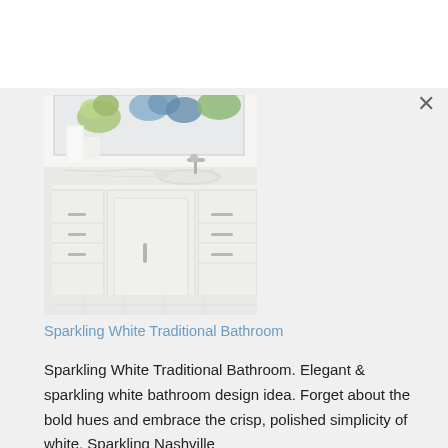[Figure (photo): A sparkling white traditional bathroom vanity with marble countertop, white cabinets, silver hardware, a sink with vintage-style faucet, white towels, and flower arrangements in vases. The vanity has multiple drawers and cabinet doors with decorative paneling.]
Sparkling White Traditional Bathroom
Sparkling White Traditional Bathroom. Elegant & sparkling white bathroom design idea. Forget about the bold hues and embrace the crisp, polished simplicity of white. Sparkling Nashville